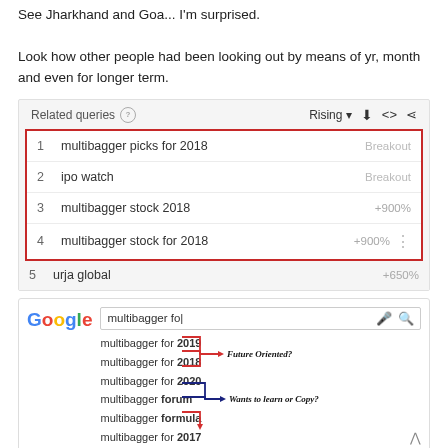See Jharkhand and Goa... I'm surprised.
Look how other people had been looking out by means of yr, month and even for longer term.
[Figure (screenshot): Google Trends 'Related queries' widget showing Rising queries: 1. multibagger picks for 2018 - Breakout, 2. ipo watch - Breakout, 3. multibagger stock 2018 - +900%, 4. multibagger stock for 2018 - +900%, 5. urja global - +650%. Items 1-4 are highlighted with a red rectangular border.]
[Figure (screenshot): Google search autocomplete screenshot showing 'multibagger fo' typed, with suggestions: multibagger for 2019, multibagger for 2018, multibagger for 2020, multibagger forum, multibagger formula, multibagger for 2017. Red arrows point to year-based suggestions labeled 'Future Oriented?' and blue arrows point to forum/formula labeled 'Wants to learn or Copy?']